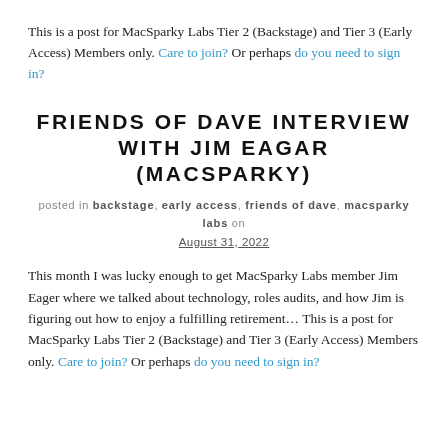This is a post for MacSparky Labs Tier 2 (Backstage) and Tier 3 (Early Access) Members only. Care to join? Or perhaps do you need to sign in?
FRIENDS OF DAVE INTERVIEW WITH JIM EAGAR (MACSPARKY)
posted in backstage, early access, friends of dave, macsparky labs on August 31, 2022
This month I was lucky enough to get MacSparky Labs member Jim Eager where we talked about technology, roles audits, and how Jim is figuring out how to enjoy a fulfilling retirement… This is a post for MacSparky Labs Tier 2 (Backstage) and Tier 3 (Early Access) Members only. Care to join? Or perhaps do you need to sign in?